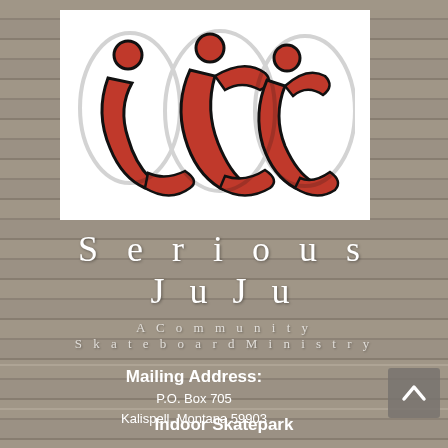[Figure (logo): Serious JuJu skateboard ministry logo — stylized red and black figures forming letters on white background]
Serious JuJu
A Community Skateboard Ministry
Mailing Address: P.O. Box 705 Kalispell, Montana 59903
Indoor Skatepark